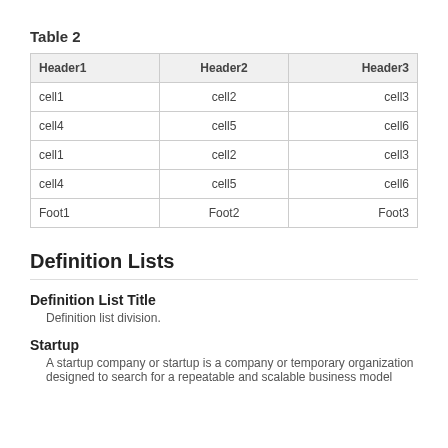Table 2
| Header1 | Header2 | Header3 |
| --- | --- | --- |
| cell1 | cell2 | cell3 |
| cell4 | cell5 | cell6 |
| cell1 | cell2 | cell3 |
| cell4 | cell5 | cell6 |
| Foot1 | Foot2 | Foot3 |
Definition Lists
Definition List Title
Definition list division.
Startup
A startup company or startup is a company or temporary organization designed to search for a repeatable and scalable business model